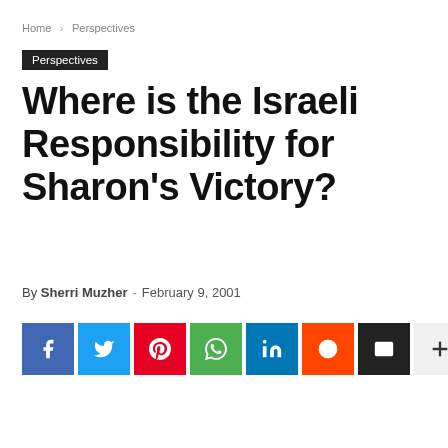Home › Perspectives
Perspectives
Where is the Israeli Responsibility for Sharon's Victory?
By Sherri Muzher - February 9, 2001
[Figure (infographic): Social sharing buttons: Facebook, Twitter, Pinterest, WhatsApp, LinkedIn, Reddit, Email, More (+)]